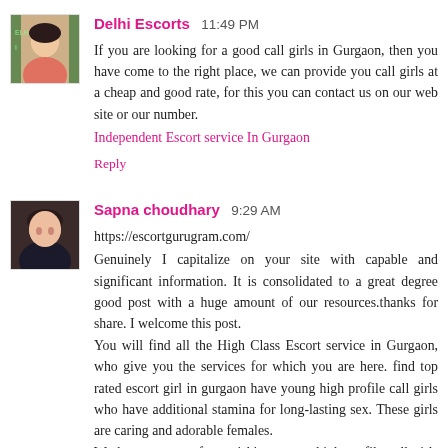[Figure (photo): Avatar photo of Delhi Escorts commenter - woman in traditional clothing]
Delhi Escorts  11:49 PM
If you are looking for a good call girls in Gurgaon, then you have come to the right place, we can provide you call girls at a cheap and good rate, for this you can contact us on our web site or our number. Independent Escort service In Gurgaon
Reply
[Figure (photo): Avatar photo of Sapna choudhary commenter - woman with dark hair]
Sapna choudhary  9:29 AM
https://escortgurugram.com/
Genuinely I capitalize on your site with capable and significant information. It is consolidated to a great degree good post with a huge amount of our resources.thanks for share. I welcome this post.
You will find all the High Class Escort service in Gurgaon, who give you the services for which you are here. find top rated escort girl in gurgaon have young high profile call girls who have additional stamina for long-lasting sex. These girls are caring and adorable females.
We have groups of astonishing young high profile call girls who simply make your mind-set and turn on you. Our Escort will be your partner in the room, you can share your sexual dreams with her and she will assist you with completing it. Contact high profile Escorts service in Gurgaon and have an awesome time with high class affordable females.